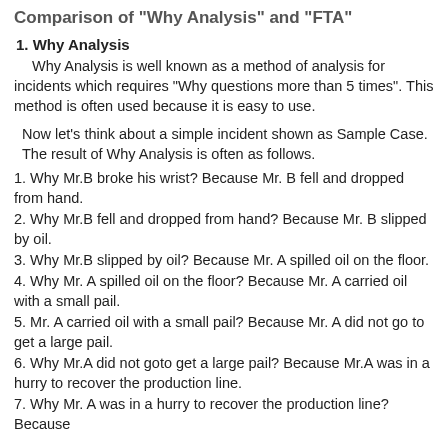Comparison of "Why Analysis" and "FTA"
1. Why Analysis
Why Analysis is well known as a method of analysis for incidents which requires "Why questions more than 5 times".  This method is often used because it is easy to use.
Now let's think about a simple incident shown as Sample Case.
The result of Why Analysis is often as follows.
1. Why Mr.B broke his wrist? Because Mr. B fell and dropped from hand.
2. Why Mr.B fell and dropped from hand?  Because Mr. B slipped by oil.
3. Why Mr.B slipped by oil?  Because Mr. A spilled oil on the floor.
4. Why Mr. A spilled oil on the floor?  Because Mr. A carried oil with a small pail.
5. Mr. A carried oil with a small pail?  Because Mr. A did not go to get a large pail.
6. Why Mr.A did not goto get a large pail?  Because Mr.A was in a hurry to recover the production line.
7. Why Mr. A was in a hurry to recover the production line?  Because